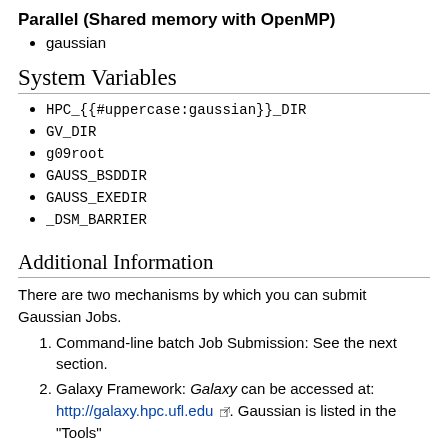Parallel (Shared memory with OpenMP)
gaussian
System Variables
HPC_{{#uppercase:gaussian}}_DIR
GV_DIR
g09root
GAUSS_BSDDIR
GAUSS_EXEDIR
_DSM_BARRIER
Additional Information
There are two mechanisms by which you can submit Gaussian Jobs.
Command-line batch Job Submission: See the next section.
Galaxy Framework: Galaxy can be accessed at: http://galaxy.hpc.ufl.edu. Gaussian is listed in the "Tools"